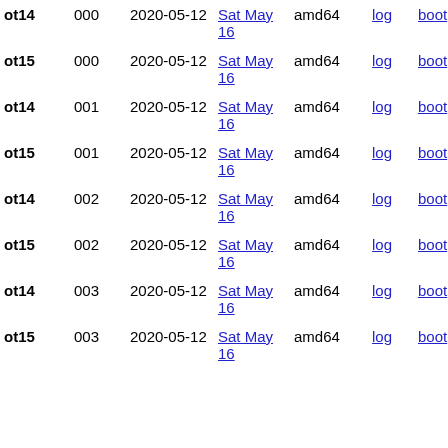| ot14 | 000 | 2020-05-12 | Sat May 16 | amd64 | log | boot |
| ot15 | 000 | 2020-05-12 | Sat May 16 | amd64 | log | boot |
| ot14 | 001 | 2020-05-12 | Sat May 16 | amd64 | log | boot |
| ot15 | 001 | 2020-05-12 | Sat May 16 | amd64 | log | boot |
| ot14 | 002 | 2020-05-12 | Sat May 16 | amd64 | log | boot |
| ot15 | 002 | 2020-05-12 | Sat May 16 | amd64 | log | boot |
| ot14 | 003 | 2020-05-12 | Sat May 16 | amd64 | log | boot |
| ot15 | 003 | 2020-05-12 | Sat May 16 | amd64 | log | boot |